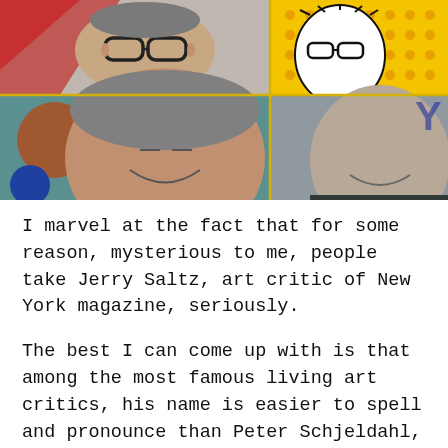[Figure (photo): Composite photo grid of a man's face (art critic Jerry Saltz) split into four quadrants with a gold cross dividing them. Top-left: man with black glasses on colorful pop-art background with red and yellow. Top-right: pop-art black-and-white illustrated face with yellow dotted background. Bottom-left: color close-up of man's smiling face on teal/colorful background with dots. Bottom-right: same man's smiling face on grey/dark background.]
I marvel at the fact that for some reason, mysterious to me, people take Jerry Saltz, art critic of New York magazine, seriously.
The best I can come up with is that among the most famous living art critics, his name is easier to spell and pronounce than Peter Schjeldahl, who I also find critically myopic. Note here that while doing a Google search to make sure I spelled Schjoldahl correctly – I didn't – the first result